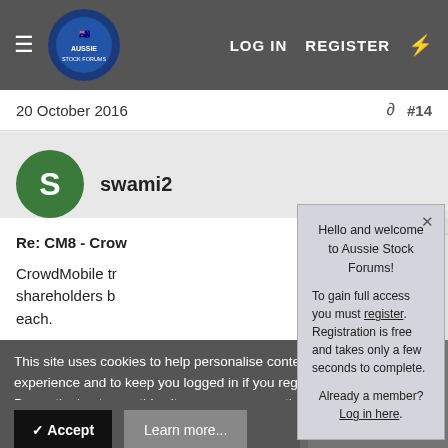[Figure (screenshot): Aussie Stock Forums navigation bar with hamburger menu, logo, LOG IN and REGISTER links]
20 October 2016
#14
swami2
Re: CM8 - Crow
CrowdMobile tr shareholders b each.
Only 640,000 were applied for.
Hello and welcome to Aussie Stock Forums!
To gain full access you must register. Registration is free and takes only a few seconds to complete.
Already a member? Log in here.
This site uses cookies to help personalise content, tailor your experience and to keep you logged in if you register.
By continuing to use this site, you are consenting to our use of cookies.
✓ Accept
Learn more...